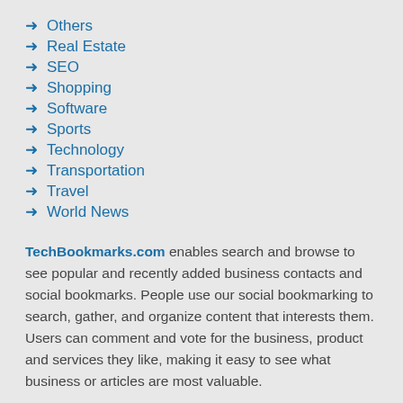Others
Real Estate
SEO
Shopping
Software
Sports
Technology
Transportation
Travel
World News
TechBookmarks.com enables search and browse to see popular and recently added business contacts and social bookmarks. People use our social bookmarking to search, gather, and organize content that interests them. Users can comment and vote for the business, product and services they like, making it easy to see what business or articles are most valuable.